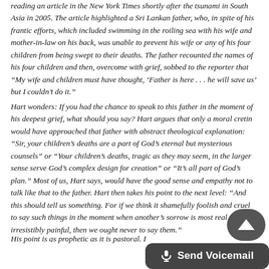reading an article in the New York Times shortly after the tsunami in South Asia in 2005. The article highlighted a Sri Lankan father, who, in spite of his frantic efforts, which included swimming in the roiling sea with his wife and mother-in-law on his back, was unable to prevent his wife or any of his four children from being swept to their deaths. The father recounted the names of his four children and then, overcome with grief, sobbed to the reporter that “My wife and children must have thought, ‘Father is here . . . he will save us’ but I couldn’t do it.”
Hart wonders: If you had the chance to speak to this father in the moment of his deepest grief, what should you say? Hart argues that only a moral cretin would have approached that father with abstract theological explanation: “Sir, your children’s deaths are a part of God’s eternal but mysterious counsels” or “Your children’s deaths, tragic as they may seem, in the larger sense serve God’s complex design for creation” or “It’s all part of God’s plan.” Most of us, Hart says, would have the good sense and empathy not to talk like that to the father. Hart then takes his point to the next level: “And this should tell us something. For if we think it shamefully foolish and cruel to say such things in the moment when another’s sorrow is most real and irresistibly painful, then we ought never to say them.”
His point is as prophetic as it is pastoral. If we ought never to say them to a father in grief, we ought never to say them about God. Indeed, if